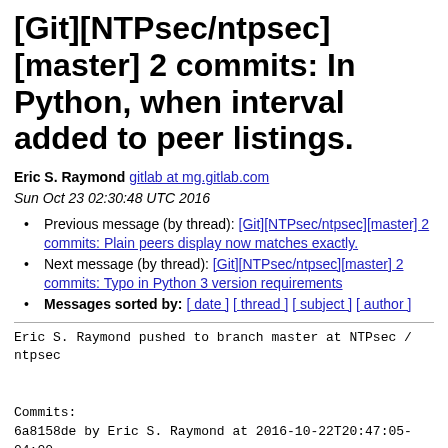[Git][NTPsec/ntpsec][master] 2 commits: In Python, when interval added to peer listings.
Eric S. Raymond gitlab at mg.gitlab.com
Sun Oct 23 02:30:48 UTC 2016
Previous message (by thread): [Git][NTPsec/ntpsec][master] 2 commits: Plain peers display now matches exactly.
Next message (by thread): [Git][NTPsec/ntpsec][master] 2 commits: Typo in Python 3 version requirements
Messages sorted by: [ date ] [ thread ] [ subject ] [ author ]
Eric S. Raymond pushed to branch master at NTPsec /
ntpsec


Commits:
6a8158de by Eric S. Raymond at 2016-10-22T20:47:05-
04:00
In Python, when interval added to peer listings.